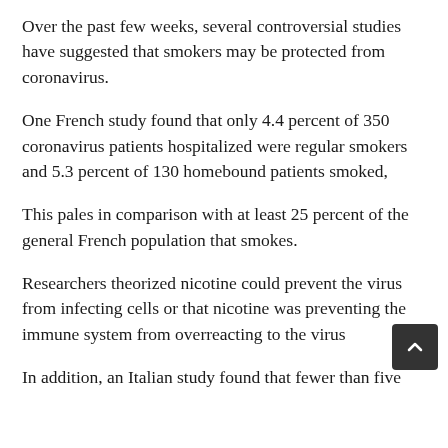Over the past few weeks, several controversial studies have suggested that smokers may be protected from coronavirus.
One French study found that only 4.4 percent of 350 coronavirus patients hospitalized were regular smokers and 5.3 percent of 130 homebound patients smoked,
This pales in comparison with at least 25 percent of the general French population that smokes.
Researchers theorized nicotine could prevent the virus from infecting cells or that nicotine was preventing the immune system from overreacting to the virus
In addition, an Italian study found that fewer than five